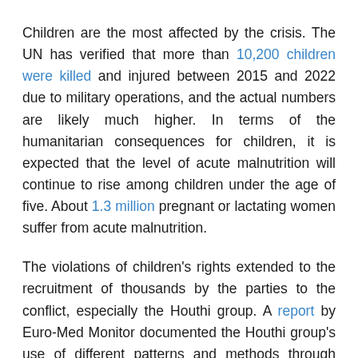Children are the most affected by the crisis. The UN has verified that more than 10,200 children were killed and injured between 2015 and 2022 due to military operations, and the actual numbers are likely much higher. In terms of the humanitarian consequences for children, it is expected that the level of acute malnutrition will continue to rise among children under the age of five. About 1.3 million pregnant or lactating women suffer from acute malnutrition.
The violations of children's rights extended to the recruitment of thousands by the parties to the conflict, especially the Houthi group. A report by Euro-Med Monitor documented the Houthi group's use of different patterns and methods through which it recruited thousands of children at the age of...